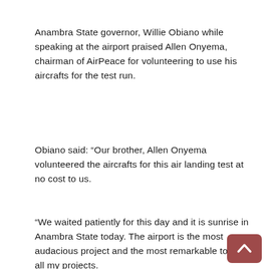Anambra State governor, Willie Obiano while speaking at the airport praised Allen Onyema, chairman of AirPeace for volunteering to use his aircrafts for the test run.
Obiano said: “Our brother, Allen Onyema volunteered the aircrafts for this air landing test at no cost to us.
“We waited patiently for this day and it is sunrise in Anambra State today. The airport is the most audacious project and the most remarkable too of all my projects.